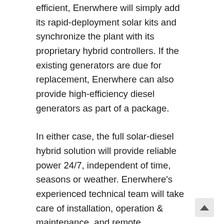efficient, Enerwhere will simply add its rapid-deployment solar kits and synchronize the plant with its proprietary hybrid controllers. If the existing generators are due for replacement, Enerwhere can also provide high-efficiency diesel generators as part of a package.
In either case, the full solar-diesel hybrid solution will provide reliable power 24/7, independent of time, seasons or weather. Enerwhere's experienced technical team will take care of installation, operation & maintenance, and remote monitoring, thereby offering an all-in hassle-free package.
What can I save?
Introducing solar into a conventional diesel generator-based mini-grid can save anywhere from 20-50% of the